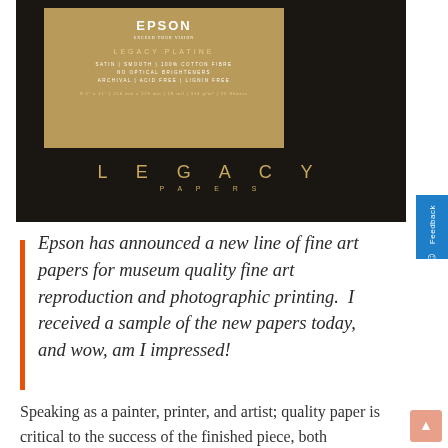[Figure (photo): Epson Legacy Platine paper product box on dark background. Gold label with text: LEGACY PLATINE, SATIN | SMOOTH | 100% COTTON FIBRE, NO OPTICAL BRIGHTENERS, ARCHIVAL | ACID FREE | LIGNIN FREE. Bottom of dark panel reads LEGACY PAPERS in spaced gold letters.]
Epson has announced a new line of fine art papers for museum quality fine art reproduction and photographic printing.  I received a sample of the new papers today, and wow, am I impressed!
Speaking as a painter, printer, and artist; quality paper is critical to the success of the finished piece, both